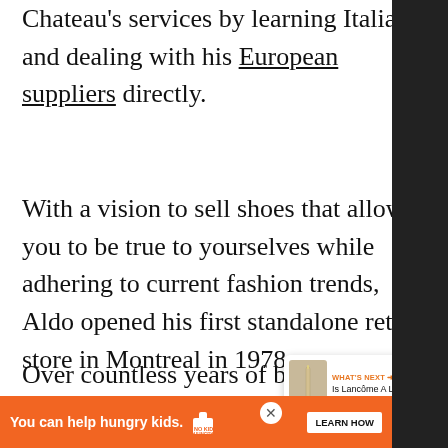Chateau's services by learning Italian and dealing with his European suppliers directly.
With a vision to sell shoes that allow you to be true to yourselves while adhering to current fashion trends, Aldo opened his first standalone retail store in Montreal in 1978.
Over countless years of being generous, but...
[Figure (other): Social media floating action buttons: heart/like button (blue circle) and share button (white circle with share icon)]
[Figure (other): What's Next panel showing an image of a lipstick/candle and text 'WHAT'S NEXT → Is Lancôme A Luxury...']
[Figure (other): Orange advertisement banner: 'You can help hungry kids. NO KID HUNGRY LEARN HOW' with close button]